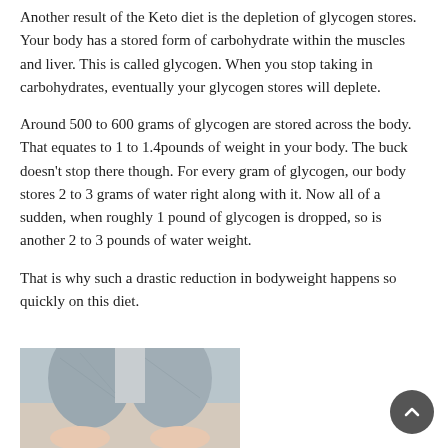Another result of the Keto diet is the depletion of glycogen stores. Your body has a stored form of carbohydrate within the muscles and liver. This is called glycogen. When you stop taking in carbohydrates, eventually your glycogen stores will deplete.
Around 500 to 600 grams of glycogen are stored across the body. That equates to 1 to 1.4pounds of weight in your body. The buck doesn't stop there though. For every gram of glycogen, our body stores 2 to 3 grams of water right along with it. Now all of a sudden, when roughly 1 pound of glycogen is dropped, so is another 2 to 3 pounds of water weight.
That is why such a drastic reduction in bodyweight happens so quickly on this diet.
[Figure (photo): Photo of a person's lower body wearing grey shorts/tights and showing feet, viewed from above]